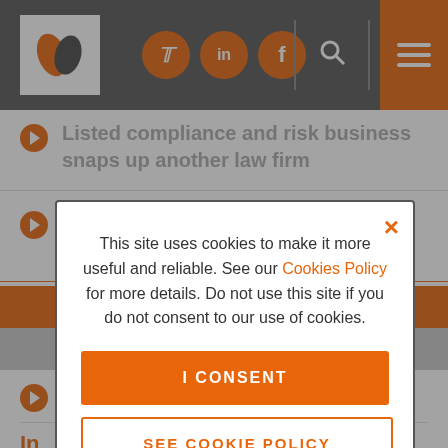Legal news website header with logo, social icons (Twitter, LinkedIn, Facebook), search, and menu
Listed compliance and risk business snaps up another law firm
Florida becomes latest state to move towards allowing ABSs
MORE STORIES
F...
In... s...
This site uses cookies to make it more useful and reliable. See our Cookies Policy for more details. Do not use this site if you do not consent to our use of cookies.
I CONSENT
SEE COOKIE POLICY